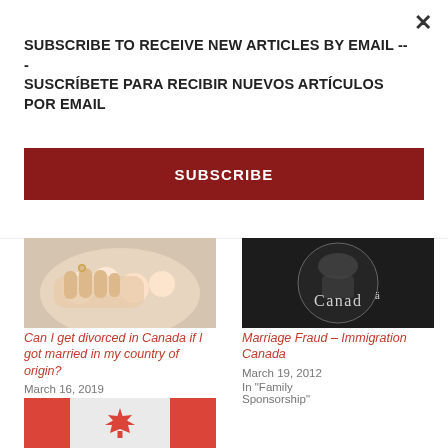SUBSCRIBE TO RECEIVE NEW ARTICLES BY EMAIL --- SUSCRÍBETE PARA RECIBIR NUEVOS ARTÍCULOS POR EMAIL
SUBSCRIBE
[Figure (photo): Hands holding flowers, wedding/marriage themed photo]
Can I get divorced in Canada if I got married in my country of origin?
March 16, 2019
In "Family Law"
[Figure (logo): Canada government logo on dark circular background]
Marriage Fraud – Immigration Canada
March 19, 2012
In "Family Sponsorship"
[Figure (photo): Canadian flag (red and white maple leaf flag)]